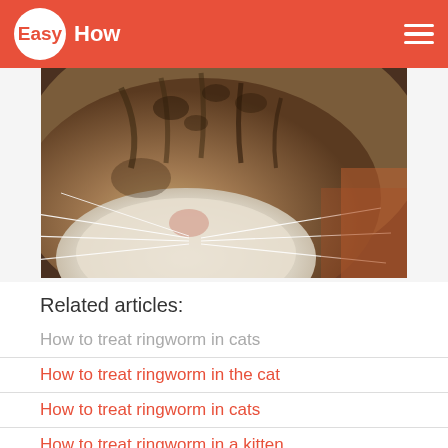EasyHow
[Figure (photo): Close-up photo of a tabby cat's face, showing whiskers and fur detail]
Related articles:
How to treat ringworm in cats
How to treat ringworm in the cat
How to treat ringworm in cats
How to treat ringworm in a kitten
Surprisingly, in Soviet times, in veterinary clinics cats, sick ringworm simply put to sleep. It was considered very dangerous to keep such animals in the apartment, because the disease is easily